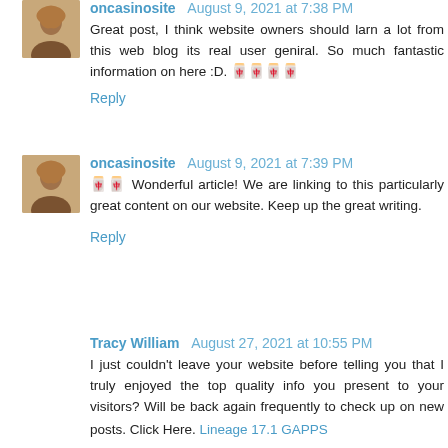oncasinosite August 9, 2021 at 7:38 PM
Great post, I think website owners should larn a lot from this web blog its real user geniral. So much fantastic information on here :D. 🀄🀄🀄🀄
Reply
oncasinosite August 9, 2021 at 7:39 PM
🀄🀄 Wonderful article! We are linking to this particularly great content on our website. Keep up the great writing.
Reply
Tracy William August 27, 2021 at 10:55 PM
I just couldn't leave your website before telling you that I truly enjoyed the top quality info you present to your visitors? Will be back again frequently to check up on new posts. Click Here. Lineage 17.1 GAPPS